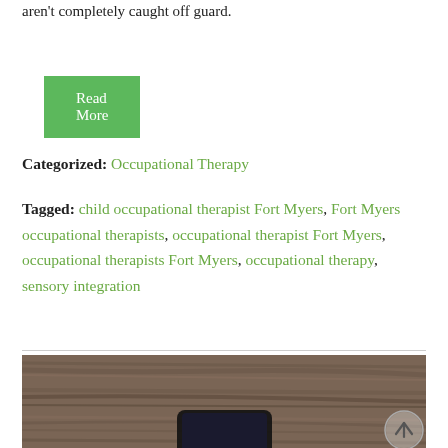aren't completely caught off guard.
Read More
Categorized: Occupational Therapy
Tagged: child occupational therapist Fort Myers, Fort Myers occupational therapists, occupational therapist Fort Myers, occupational therapists Fort Myers, occupational therapy, sensory integration
[Figure (photo): A smartphone lying on a wooden table surface, viewed from above, with a scroll-to-top circular arrow button overlaid in the bottom right corner.]